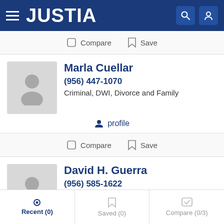JUSTIA
Compare  Save
Marla Cuellar
(956) 447-1070
Criminal, DWI, Divorce and Family
profile
Compare  Save
David H. Guerra
(956) 585-1622
Elder, Energy, Estate Planning and Municipal
Recent (0)  Saved (0)  Compare (0/3)